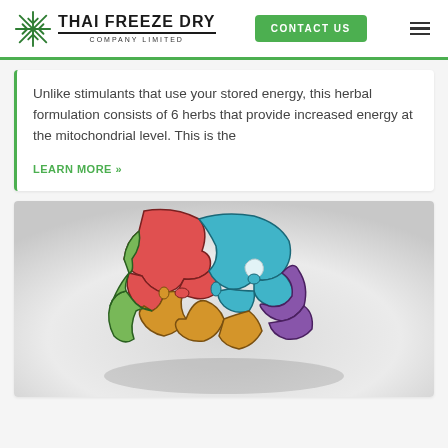Thai Freeze Dry Company Limited — CONTACT US
Unlike stimulants that use your stored energy, this herbal formulation consists of 6 herbs that provide increased energy at the mitochondrial level. This is the
LEARN MORE »
[Figure (photo): A colorful brain made of interlocking puzzle pieces in red, teal/blue, purple, green, and orange/yellow colors, shown on a light grey gradient background.]